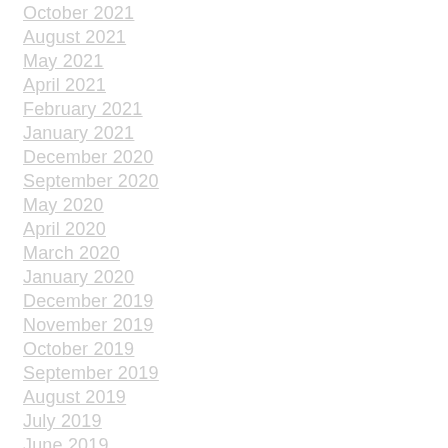October 2021
August 2021
May 2021
April 2021
February 2021
January 2021
December 2020
September 2020
May 2020
April 2020
March 2020
January 2020
December 2019
November 2019
October 2019
September 2019
August 2019
July 2019
June 2019